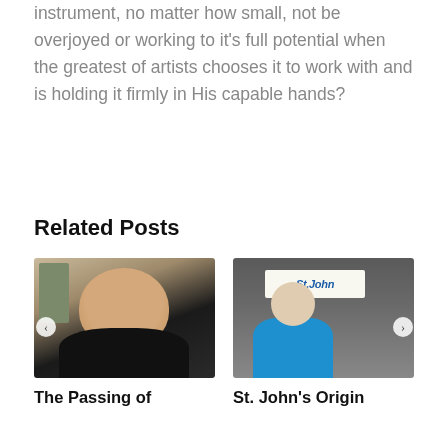instrument, no matter how small, not be overjoyed or working to it's full potential when the greatest of artists chooses it to work with and is holding it firmly in His capable hands?
Related Posts
[Figure (photo): Photo of a smiling elderly priest in black clerical clothing, with a decorative shelf visible on the left]
[Figure (photo): Photo of an elderly woman in a blue jacket pointing upward at a 'St. John' sign on a dark brick wall]
The Passing of
St. John's Origin